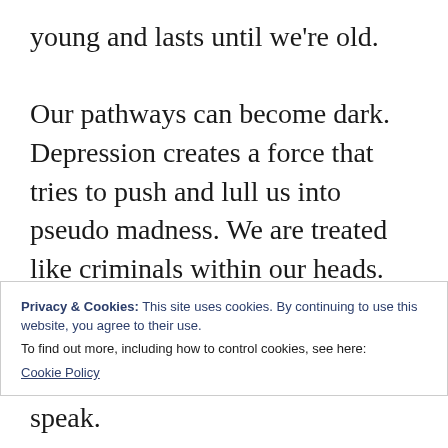young and lasts until we're old.

Our pathways can become dark. Depression creates a force that tries to push and lull us into pseudo madness. We are treated like criminals within our heads. Forced hatred doesn't make us strong. Hatred blurs the lines and forces pieces of our soul to die. Hate causes our souls to cry. And sometimes it causes us to live a lie. Reach inside yourself and take a step forward to realize you are strong. You are beautiful and
Privacy & Cookies: This site uses cookies. By continuing to use this website, you agree to their use.
To find out more, including how to control cookies, see here:
Cookie Policy
your translation to hear your soul speak.